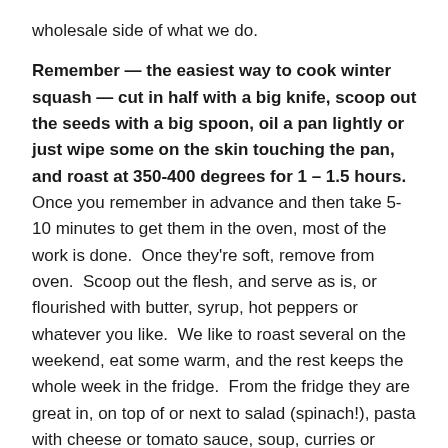wholesale side of what we do.
Remember — the easiest way to cook winter squash — cut in half with a big knife, scoop out the seeds with a big spoon, oil a pan lightly or just wipe some on the skin touching the pan, and roast at 350-400 degrees for 1 – 1.5 hours.   Once you remember in advance and then take 5-10 minutes to get them in the oven, most of the work is done.  Once they're soft, remove from oven.  Scoop out the flesh, and serve as is, or flourished with butter, syrup, hot peppers or whatever you like.  We like to roast several on the weekend, eat some warm, and the rest keeps the whole week in the fridge.  From the fridge they are great in, on top of or next to salad (spinach!), pasta with cheese or tomato sauce, soup, curries or nearly any meal at all.